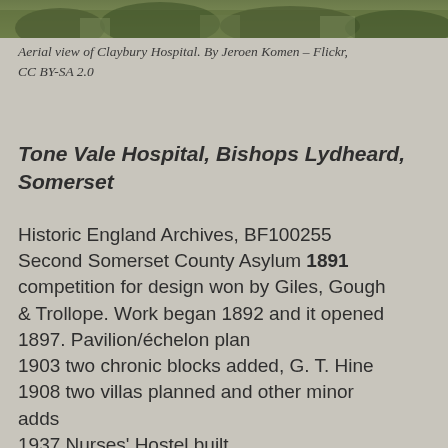[Figure (photo): Aerial view of Claybury Hospital, partial strip at top of page showing green landscape with buildings]
Aerial view of Claybury Hospital. By Jeroen Komen – Flickr, CC BY-SA 2.0
Tone Vale Hospital, Bishops Lydheard, Somerset
Historic England Archives, BF100255 Second Somerset County Asylum 1891 competition for design won by Giles, Gough & Trollope. Work began 1892 and it opened 1897. Pavilion/échelon plan
1903 two chronic blocks added, G. T. Hine
1908 two villas planned and other minor adds
1937 Nurses' Hostel built